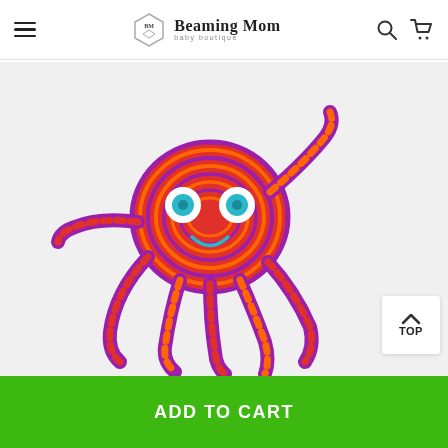Beaming Mom Baby Boutique
[Figure (photo): A colorful crocheted octopus toy with red, orange, and purple stripes, white eyes with teal pupils, and a smiling face, displayed on a light gray background.]
TOP
ADD TO CART